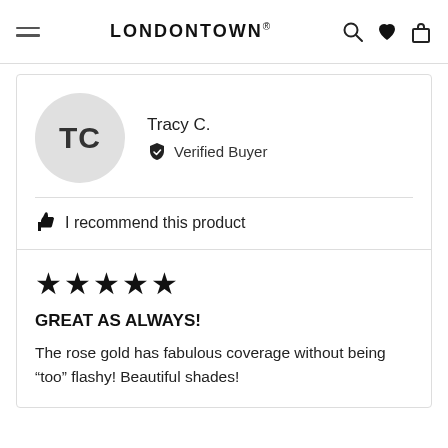LONDONTOWN®
Tracy C.
Verified Buyer
I recommend this product
★★★★★
GREAT AS ALWAYS!
The rose gold has fabulous coverage without being “too” flashy! Beautiful shades!